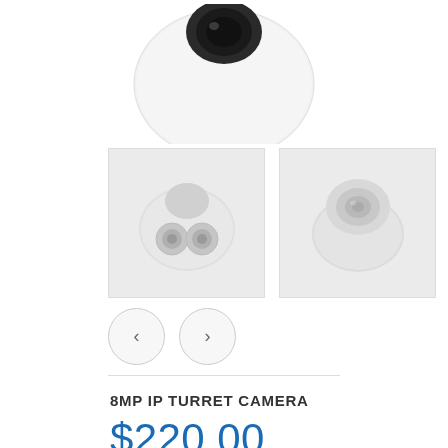[Figure (photo): Main product image: white dome/turret security camera viewed from below showing lens assembly]
[Figure (photo): Thumbnail 1: white turret camera viewed from below at angle, showing two lens circles]
[Figure (photo): Thumbnail 2: white turret dome camera viewed from front/side angle]
8MP IP TURRET CAMERA
$220.00
- 1 +